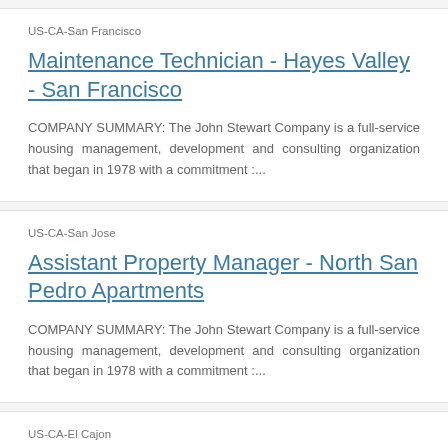US-CA-San Francisco
Maintenance Technician - Hayes Valley - San Francisco
COMPANY SUMMARY: The John Stewart Company is a full-service housing management, development and consulting organization that began in 1978 with a commitment :...
US-CA-San Jose
Assistant Property Manager - North San Pedro Apartments
COMPANY SUMMARY: The John Stewart Company is a full-service housing management, development and consulting organization that began in 1978 with a commitment :...
US-CA-El Cajon
Maintenance Technician - Broadway I II